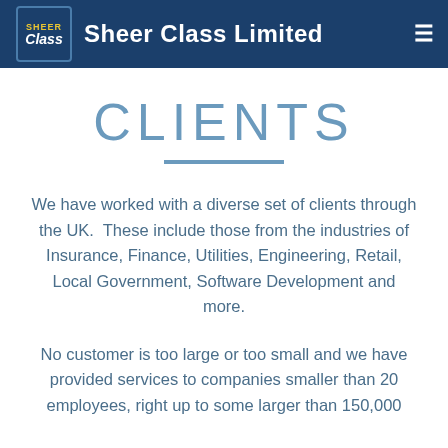Sheer Class Limited
CLIENTS
We have worked with a diverse set of clients through the UK.  These include those from the industries of Insurance, Finance, Utilities, Engineering, Retail, Local Government, Software Development and more.
No customer is too large or too small and we have provided services to companies smaller than 20 employees, right up to some larger than 150,000